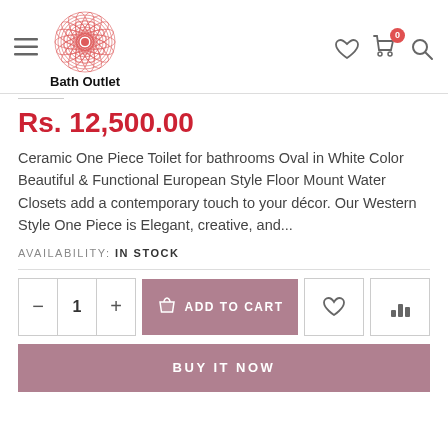Bath Outlet — header with logo, hamburger menu, wishlist, cart (0), search icons
Rs. 12,500.00
Ceramic One Piece Toilet for bathrooms Oval in White Color Beautiful & Functional European Style Floor Mount Water Closets add a contemporary touch to your décor. Our Western Style One Piece is Elegant, creative, and...
AVAILABILITY: IN STOCK
— 1 + ADD TO CART [wishlist] [compare]
BUY IT NOW